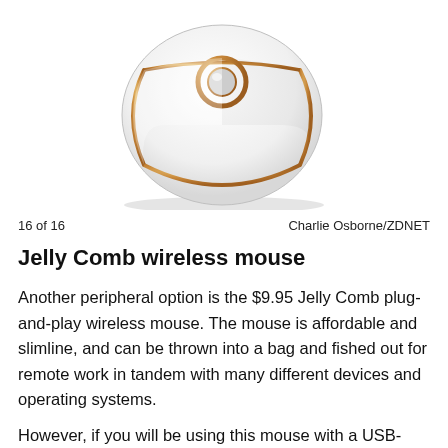[Figure (photo): White and rose gold Jelly Comb wireless mouse viewed from above at an angle, showing scroll wheel and button layout]
16 of 16	Charlie Osborne/ZDNET
Jelly Comb wireless mouse
Another peripheral option is the $9.95 Jelly Comb plug-and-play wireless mouse. The mouse is affordable and slimline, and can be thrown into a bag and fished out for remote work in tandem with many different devices and operating systems.
However, if you will be using this mouse with a USB-